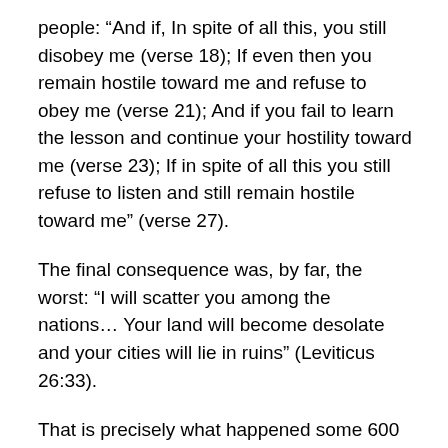people: “And if, In spite of all this, you still disobey me (verse 18); If even then you remain hostile toward me and refuse to obey me (verse 21); And if you fail to learn the lesson and continue your hostility toward me (verse 23); If in spite of all this you still refuse to listen and still remain hostile toward me” (verse 27).
The final consequence was, by far, the worst: “I will scatter you among the nations… Your land will become desolate and your cities will lie in ruins” (Leviticus 26:33).
That is precisely what happened some 600 years later when Assyria conquered and exiled Israel’s ten northern tribes; only after several prophets warned Israel to return to the Lord. Warnings that fell on deaf ears. Then 136 years later, Babylon crushed the remaining two southern tribes (Judah and Benjamin), utterly demolished